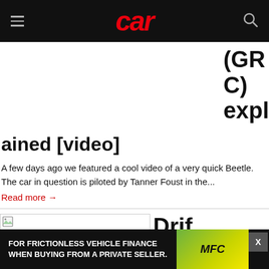car
(GRC) expl
ained [video]
A few days ago we featured a cool video of a very quick Beetle. The car in question is piloted by Tanner Foust in the...
Read more →
Drift Sh...
FOR FRICTIONLESS VEHICLE FINANCE WHEN BUYING FROM A PRIVATE SELLER.